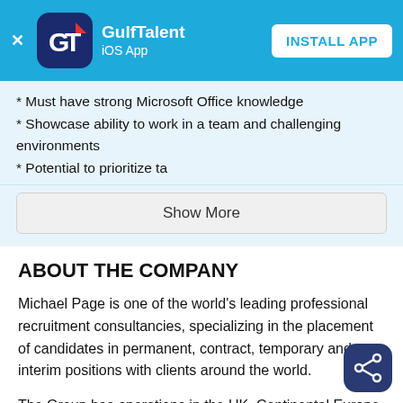GulfTalent iOS App — INSTALL APP
* Must have strong Microsoft Office knowledge
* Showcase ability to work in a team and challenging environments
* Potential to prioritize ta
Show More
ABOUT THE COMPANY
Michael Page is one of the world's leading professional recruitment consultancies, specializing in the placement of candidates in permanent, contract, temporary and interim positions with clients around the world.
The Group has operations in the UK, Continental Europe, Asia-Pacific and the Americas. In the Middle East we focus on the areas of:
Finance & Accounting Banking & Financial Services Procurement Property & Construction Engineering & Supply Chain Oil & Gas Technical and Engineering Human Resources Sales Marketing